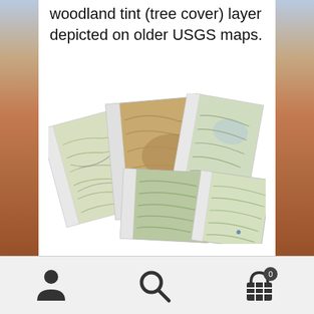woodland tint (tree cover) layer depicted on older USGS maps.
[Figure (illustration): Fan of overlapping topographic map sheets showing terrain relief with green and tan coloring, arranged in a spread/fan layout]
amTopo maps have been thoughtfully designed with navigation in mind. Each map includes...